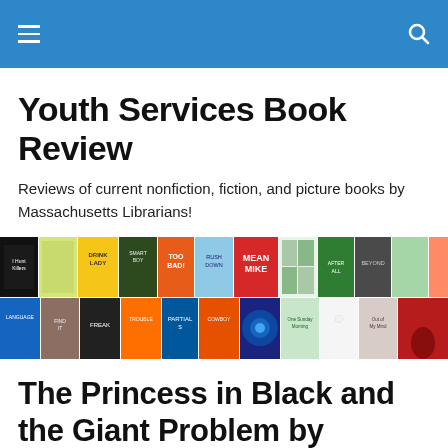Youth Services Book Review
Reviews of current nonfiction, fiction, and picture books by Massachusetts Librarians!
[Figure (photo): A collage banner of colorful book covers for young readers, arranged in two rows across the full width of the page.]
The Princess in Black and the Giant Problem by Shannon Hale & Dean Hale, illustrated by LeUyen Pham